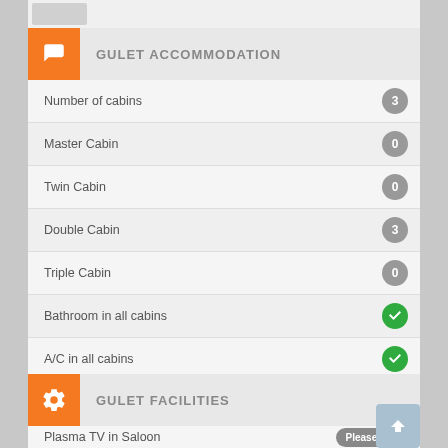GULET ACCOMMODATION
| Feature | Value |
| --- | --- |
| Number of cabins | 3 |
| Master Cabin | 0 |
| Twin Cabin | 0 |
| Double Cabin | 3 |
| Triple Cabin | 0 |
| Bathroom in all cabins | ✓ |
| A/C in all cabins | ✓ |
| TV in all cabins | Please Ask |
| Hairdryer | ✗ |
GULET FACILITIES
| Feature | Value |
| --- | --- |
| Plasma TV in Saloon | Please Ask |